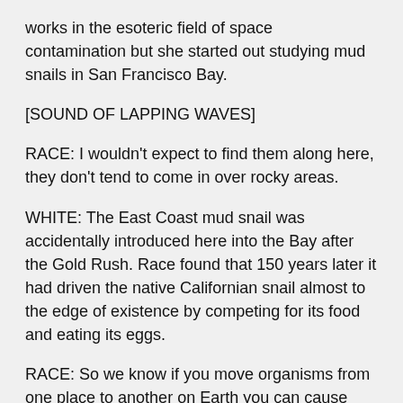works in the esoteric field of space contamination but she started out studying mud snails in San Francisco Bay.
[SOUND OF LAPPING WAVES]
RACE: I wouldn't expect to find them along here, they don't tend to come in over rocky areas.
WHITE: The East Coast mud snail was accidentally introduced here into the Bay after the Gold Rush. Race found that 150 years later it had driven the native Californian snail almost to the edge of existence by competing for its food and eating its eggs.
RACE: So we know if you move organisms from one place to another on Earth you can cause ecological disruption. So, when we go to the moon or to Mars or to other places in the solar system, we have to do our science responsibly. That means you don't move